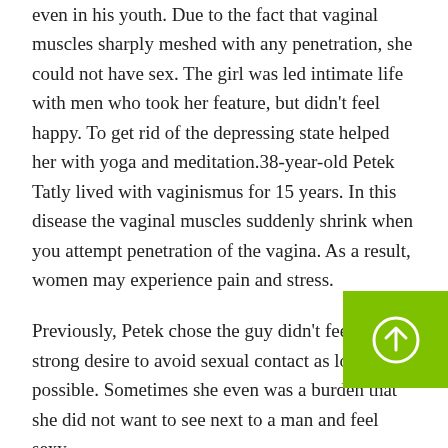even in his youth. Due to the fact that vaginal muscles sharply meshed with any penetration, she could not have sex. The girl was led intimate life with men who took her feature, but didn't feel happy. To get rid of the depressing state helped her with yoga and meditation.38-year-old Petek Tatly lived with vaginismus for 15 years. In this disease the vaginal muscles suddenly shrink when you attempt penetration of the vagina. As a result, women may experience pain and stress.
Previously, Petek chose the guy didn't feel a strong desire to avoid sexual contact as long as possible. Sometimes she even was a burden that she did not want to see next to a man and feel sexy.
She founded a support group for women with this dis... Petek shares her story to help women to overcome
[Figure (other): Green button with a circle and up-arrow icon in the bottom right corner]